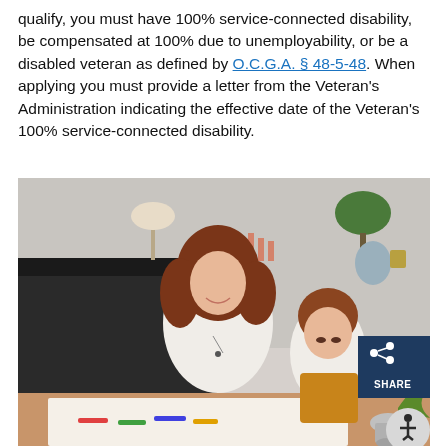qualify, you must have 100% service-connected disability, be compensated at 100% due to unemployability, or be a disabled veteran as defined by O.C.G.A. § 48-5-48. When applying you must provide a letter from the Veteran's Administration indicating the effective date of the Veteran's 100% service-connected disability.
[Figure (photo): A smiling woman with curly red hair leaning over a table helping a young boy with curly red hair who is drawing or coloring. They are in a home setting with a dark fireplace mantel, lamp, plant, and decorative items in the background. A dark blue 'SHARE' button with a share icon is overlaid in the lower right of the image, and an accessibility icon button appears at the bottom right corner.]